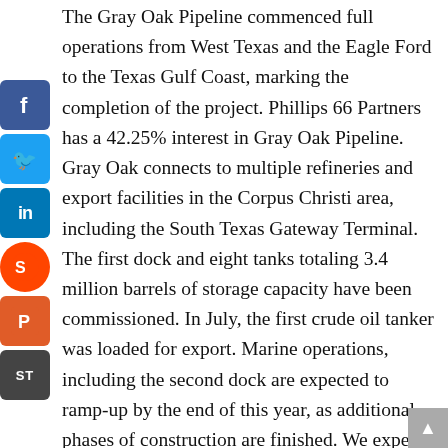The Gray Oak Pipeline commenced full operations from West Texas and the Eagle Ford to the Texas Gulf Coast, marking the completion of the project. Phillips 66 Partners has a 42.25% interest in Gray Oak Pipeline. Gray Oak connects to multiple refineries and export facilities in the Corpus Christi area, including the South Texas Gateway Terminal. The first dock and eight tanks totaling 3.4 million barrels of storage capacity have been commissioned. In July, the first crude oil tanker was loaded for export. Marine operations, including the second dock are expected to ramp-up by the end of this year, as additional phases of construction are finished. We expect the project to be completed in the first quarter of 2021, with the total storage capacity of 8.6 million barrels, and up to 800,000 barrels per day of export capacity. Phillips, 66 Partners owns a 25% interest in the terminal.